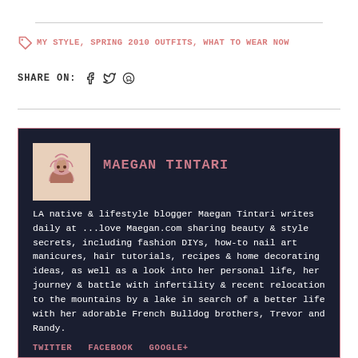MY STYLE, SPRING 2010 OUTFITS, WHAT TO WEAR NOW
SHARE ON:
MAEGAN TINTARI
LA native & lifestyle blogger Maegan Tintari writes daily at ...love Maegan.com sharing beauty & style secrets, including fashion DIYs, how-to nail art manicures, hair tutorials, recipes & home decorating ideas, as well as a look into her personal life, her journey & battle with infertility & recent relocation to the mountains by a lake in search of a better life with her adorable French Bulldog brothers, Trevor and Randy.
TWITTER   FACEBOOK   GOOGLE+